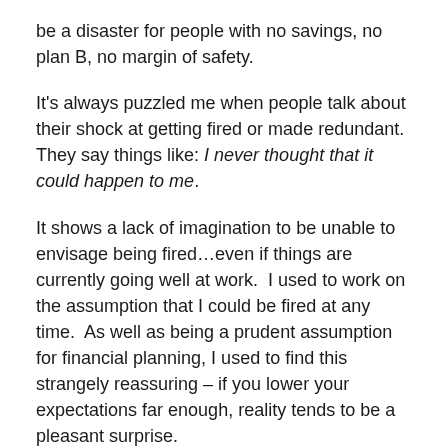be a disaster for people with no savings, no plan B, no margin of safety.
It's always puzzled me when people talk about their shock at getting fired or made redundant.  They say things like: I never thought that it could happen to me.
It shows a lack of imagination to be unable to envisage being fired…even if things are currently going well at work.  I used to work on the assumption that I could be fired at any time.  As well as being a prudent assumption for financial planning, I used to find this strangely reassuring – if you lower your expectations far enough, reality tends to be a pleasant surprise.
It's asking for trouble to get to a point where your employment is the only source of your identity. As adults